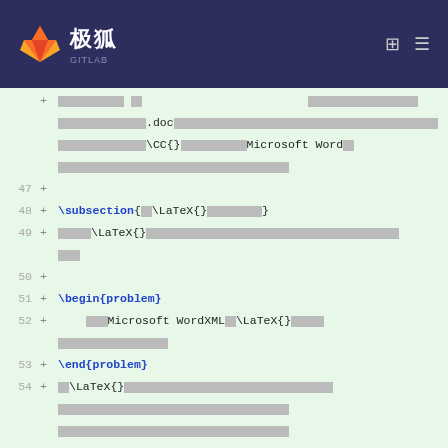GitLab 极狐 header
Code diff view lines 47-58 with LaTeX and CJK content